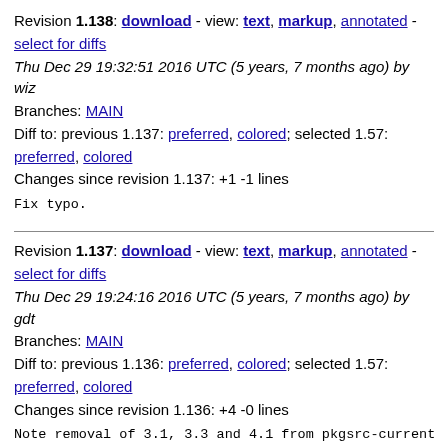Revision 1.138: download - view: text, markup, annotated - select for diffs
Thu Dec 29 19:32:51 2016 UTC (5 years, 7 months ago) by wiz
Branches: MAIN
Diff to: previous 1.137: preferred, colored; selected 1.57: preferred, colored
Changes since revision 1.137: +1 -1 lines
Fix typo.
Revision 1.137: download - view: text, markup, annotated - select for diffs
Thu Dec 29 19:24:16 2016 UTC (5 years, 7 months ago) by gdt
Branches: MAIN
Diff to: previous 1.136: preferred, colored; selected 1.57: preferred, colored
Changes since revision 1.136: +4 -0 lines
Note removal of 3.1, 3.3 and 4.1 from pkgsrc-current
Threaten purging them from the HOWTO after 2017Q1 is cut
Revision 1.136: download - view: text, markup, annotated - select for diffs
Wed Dec 21 17:03:03 2016 UTC (5 years, 7 months ago) by gdt